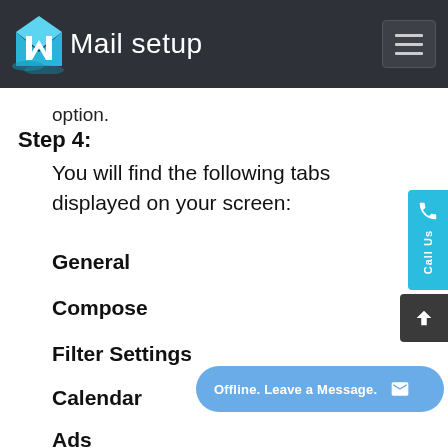Mail setup
option.
Step 4:
You will find the following tabs displayed on your screen:
General
Compose
Filter Settings
Calendar
Ads